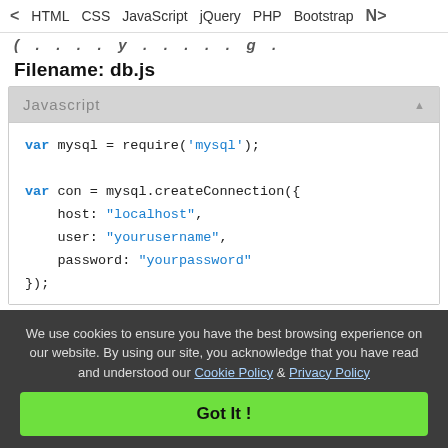HTML  CSS  JavaScript  jQuery  PHP  Bootstrap  N
( . . . . . . . y . . . . . . . g .
Filename: db.js
Javascript
var mysql = require('mysql');

var con = mysql.createConnection({
    host: "localhost",
    user: "yourusername",
    password: "yourpassword"
});
We use cookies to ensure you have the best browsing experience on our website. By using our site, you acknowledge that you have read and understood our Cookie Policy & Privacy Policy
Got It !